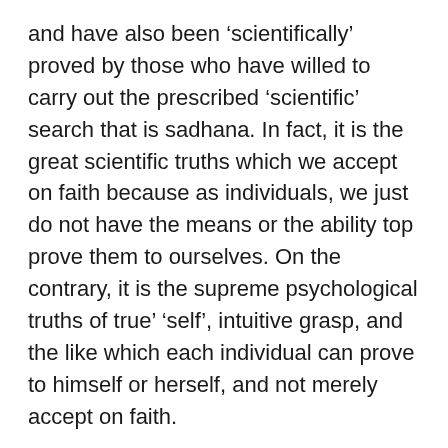and have also been ‘scientifically’ proved by those who have willed to carry out the prescribed ‘scientific’ search that is sadhana. In fact, it is the great scientific truths which we accept on faith because as individuals, we just do not have the means or the ability top prove them to ourselves. On the contrary, it is the supreme psychological truths of true’ ‘self’, intuitive grasp, and the like which each individual can prove to himself or herself, and not merely accept on faith.
Measured by the size and the time of the universe the significance of empirical man shrinks to nothingness. Instead of serving the individual Being from Universal Existence one must realize that they are intrinsically linked up